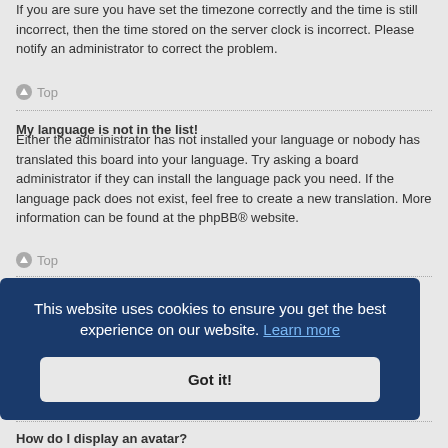If you are sure you have set the timezone correctly and the time is still incorrect, then the time stored on the server clock is incorrect. Please notify an administrator to correct the problem.
Top
My language is not in the list!
Either the administrator has not installed your language or nobody has translated this board into your language. Try asking a board administrator if they can install the language pack you need. If the language pack does not exist, feel free to create a new translation. More information can be found at the phpBB® website.
Top
What are the images next to my username?
n viewing rally in made or n avatar
How do I display an avatar?
This website uses cookies to ensure you get the best experience on our website. Learn more
Got it!